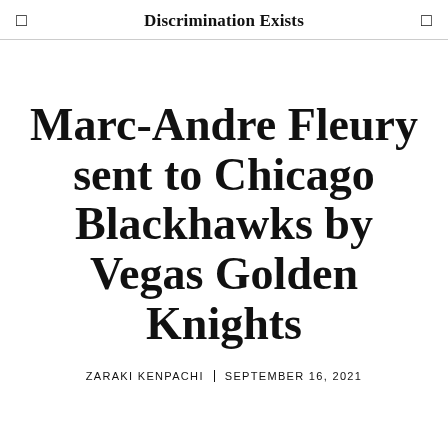Discrimination Exists
Marc-Andre Fleury sent to Chicago Blackhawks by Vegas Golden Knights
ZARAKI KENPACHI   SEPTEMBER 16, 2021